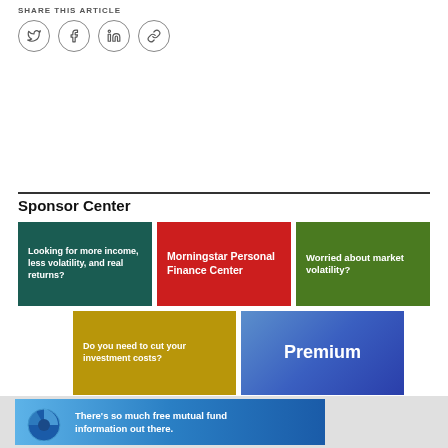SHARE THIS ARTICLE
[Figure (other): Social sharing icons: Twitter, Facebook, LinkedIn, Link (chain icon) in circular borders]
Sponsor Center
[Figure (infographic): Five sponsor advertisement boxes: teal box 'Looking for more income, less volatility, and real returns?', red box 'Morningstar Personal Finance Center', green box 'Worried about market volatility?', gold box 'Do you need to cut your investment costs?', blue gradient box 'Premium']
[Figure (infographic): Blue gradient banner with text: There's so much free mutual fund information out there.]